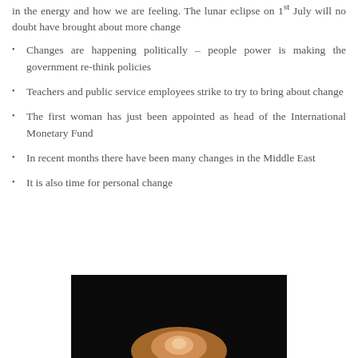in the energy and how we are feeling. The lunar eclipse on 1st July will no doubt have brought about more change
Changes are happening politically – people power is making the government re-think policies
Teachers and public service employees strike to try to bring about change
The first woman has just been appointed as head of the International Monetary Fund
In recent months there have been many changes in the Middle East
It is also time for personal change
[Figure (photo): Dark background photo showing what appears to be a glowing or illuminated object, possibly crystals or a candle, with warm orange tones at the bottom center against a black background.]